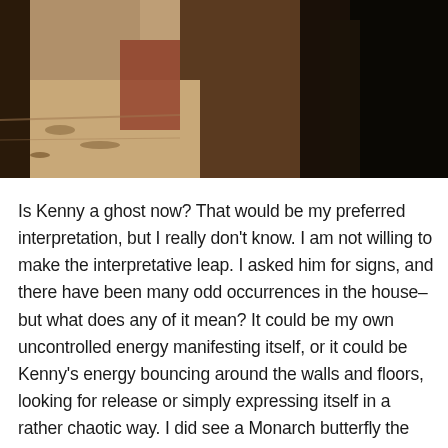[Figure (photo): A dark, moody photograph showing what appears to be an interior scene with a table or surface, scattered items, and a dark background. The image is cropped, showing only the top portion of the scene.]
Is Kenny a ghost now? That would be my preferred interpretation, but I really don't know. I am not willing to make the interpretative leap. I asked him for signs, and there have been many odd occurrences in the house–but what does any of it mean? It could be my own uncontrolled energy manifesting itself, or it could be Kenny's energy bouncing around the walls and floors, looking for release or simply expressing itself in a rather chaotic way. I did see a Monarch butterfly the day he died, and according to a reliable source, those butterflies are not supposed to be in the San Fernando Valley this time of year. But yet again, I am confronted with the angry inner